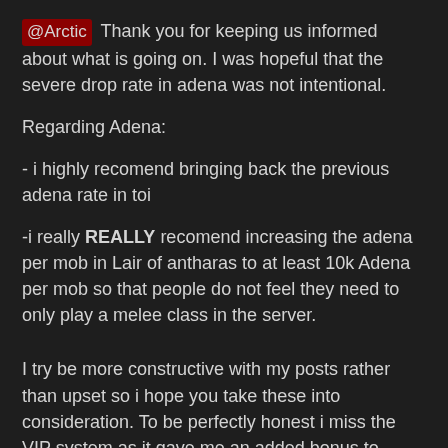@Arctic Thank you for keeping us informed about what is going on. I was hopeful that the severe drop rate in adena was not intentional.
Regarding Adena:
- i highly recomend bringing back the previous adena rate in toi
-i really REALLY recomend increasing the adena per mob in Lair of antharas to at least 10k Adena per mob so that people do not feel they need to only play a melee class in the server.
I try be more constructive with my posts rather than upset so i hope you take these into consideration. To be perfectly honest i miss the VIP system as it gave me an added bonus to